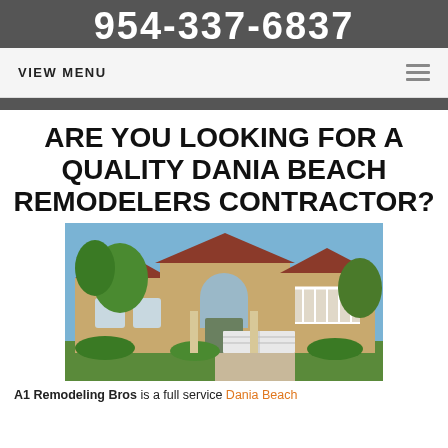954-337-6837
VIEW MENU
ARE YOU LOOKING FOR A QUALITY DANIA BEACH REMODELERS CONTRACTOR?
[Figure (photo): A large Mediterranean-style two-story home with tan/yellow stucco exterior, red tile roof, arched windows, white balcony railing, and a two-car garage, surrounded by green landscaping and trees under a blue sky.]
A1 Remodeling Bros is a full service Dania Beach